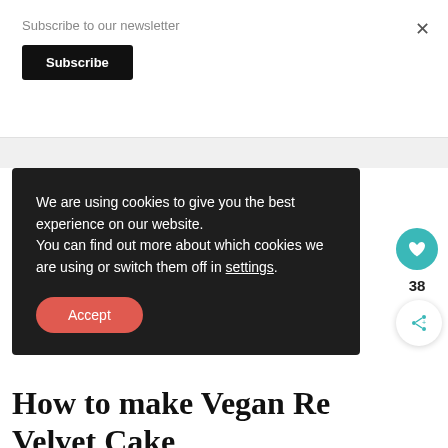Subscribe to our newsletter
Subscribe
We are using cookies to give you the best experience on our website.
You can find out more about which cookies we are using or switch them off in settings.
Accept
38
WHAT'S NEXT → Vegan Red Velvet Cookies
How to make Vegan Red Velvet Cake